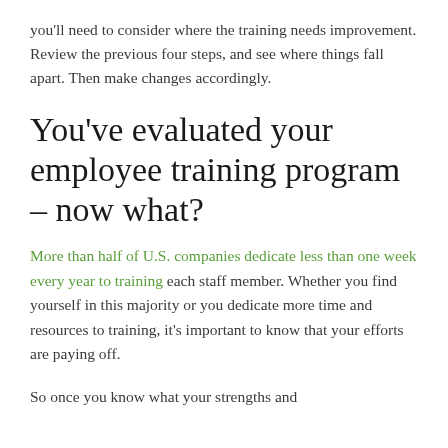you'll need to consider where the training needs improvement. Review the previous four steps, and see where things fall apart. Then make changes accordingly.
You've evaluated your employee training program – now what?
More than half of U.S. companies dedicate less than one week every year to training each staff member. Whether you find yourself in this majority or you dedicate more time and resources to training, it's important to know that your efforts are paying off.
So once you know what your strengths and